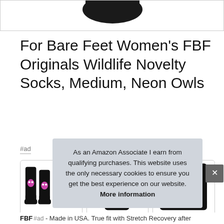[Figure (photo): Partial product image showing bottom portion of dark/black socks against white background]
For Bare Feet Women's FBF Originals Wildlife Novelty Socks, Medium, Neon Owls
#ad
[Figure (photo): Three black socks with colorful neon owl designs displayed standing upright]
[Figure (photo): Single black sock with neon owl design displayed standing upright, close-up]
[Figure (photo): Black sock with neon owl design, partial view on right side]
As an Amazon Associate I earn from qualifying purchases. This website uses the only necessary cookies to ensure you get the best experience on our website. More information
FBF #ad - Made in USA. True fit with Stretch Recovery after